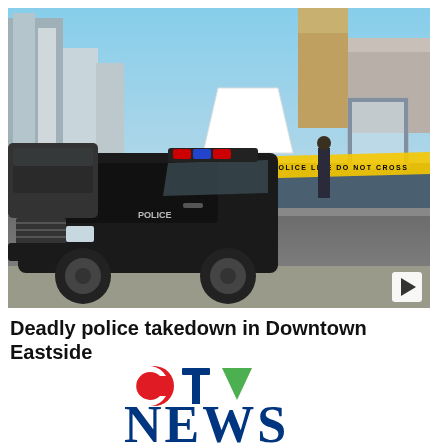[Figure (photo): Police crime scene photo showing a black police car (Dodge Charger) in the foreground with yellow police tape reading 'POLICE LINE DO NOT CROSS' stretched across a Downtown Eastside street. A white forensic tent is visible in the background along with urban buildings. A police officer stands near the tape.]
Deadly police takedown in Downtown Eastside
[Figure (logo): CTV News logo — red circle C, blue T, green triangle V above the word NEWS in large dark blue serif letters]